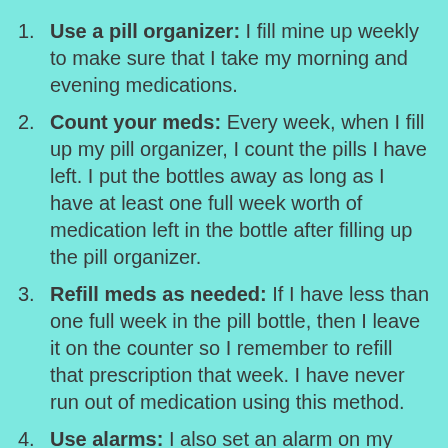Use a pill organizer: I fill mine up weekly to make sure that I take my morning and evening medications.
Count your meds: Every week, when I fill up my pill organizer, I count the pills I have left. I put the bottles away as long as I have at least one full week worth of medication left in the bottle after filling up the pill organizer.
Refill meds as needed: If I have less than one full week in the pill bottle, then I leave it on the counter so I remember to refill that prescription that week. I have never run out of medication using this method.
Use alarms: I also set an alarm on my phone, which goes off every afternoon, to remind